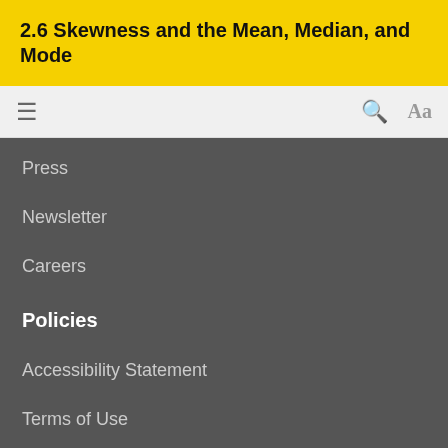2.6 Skewness and the Mean, Median, and Mode
≡  🔍  Aa
Press
Newsletter
Careers
Policies
Accessibility Statement
Terms of Use
Licensing